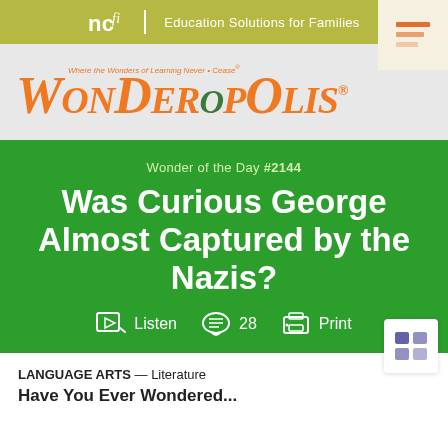ncfi | Education Solutions for Families
[Figure (logo): Wonderopolis logo - orange stylized text with tagline 'Where the Wonders of Learning Never Cease']
Wonder of the Day #2144
Was Curious George Almost Captured by the Nazis?
Listen   28   Print
LANGUAGE ARTS — Literature